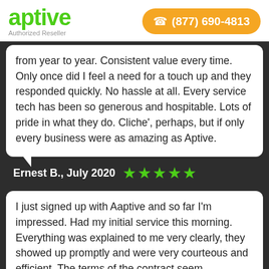[Figure (logo): Aptive green logo with 'Authorized Reseller' subtitle]
(877) 690-4813
from year to year. Consistent value every time. Only once did I feel a need for a touch up and they responded quickly. No hassle at all. Every service tech has been so generous and hospitable. Lots of pride in what they do. Cliche', perhaps, but if only every business were as amazing as Aptive.
Ernest B., July 2020 ★★★★★
I just signed up with Aaptive and so far I'm impressed. Had my initial service this morning. Everything was explained to me very clearly, they showed up promptly and were very courteous and efficient. The terms of the contract seem reasonable based on my comparisons to other offers. I opted for four additional quarterly visits with the option to